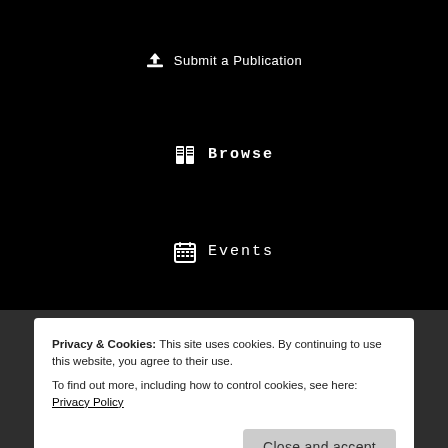Submit a Publication
Browse
Events
[Figure (other): Social media icons: Twitter bird icon and Facebook 'f' icon in white on dark background]
Privacy & Cookies: This site uses cookies. By continuing to use this website, you agree to their use.
To find out more, including how to control cookies, see here: Privacy Policy
Close and accept
supported by amazing people like you.